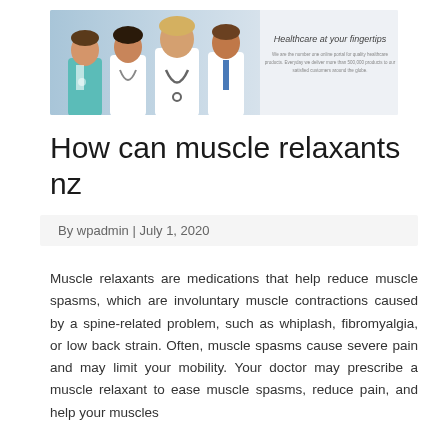[Figure (photo): Healthcare banner showing three medical professionals in white coats/scrubs smiling, with text 'Healthcare at your fingertips' and tagline about being number one online portal for quality healthcare products delivering to satisfied customers around the globe.]
How can muscle relaxants nz
By wpadmin | July 1, 2020
Muscle relaxants are medications that help reduce muscle spasms, which are involuntary muscle contractions caused by a spine-related problem, such as whiplash, fibromyalgia, or low back strain. Often, muscle spasms cause severe pain and may limit your mobility. Your doctor may prescribe a muscle relaxant to ease muscle spasms, reduce pain, and help your muscles